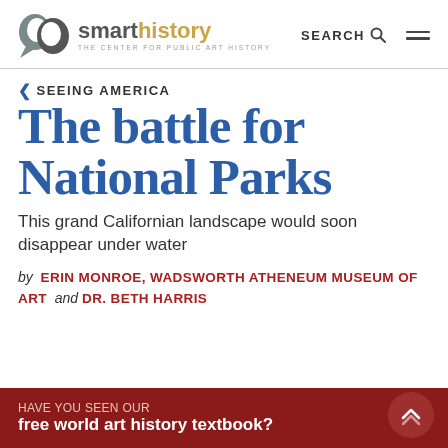[Figure (logo): Smarthistory logo — speech bubble icon with 'smarthistory / THE CENTER FOR PUBLIC ART HISTORY' text]
SEARCH 🔍  ☰
< SEEING AMERICA
The battle for National Parks
This grand Californian landscape would soon disappear under water
by ERIN MONROE, WADSWORTH ATHENEUM MUSEUM OF ART and DR. BETH HARRIS
HAVE YOU SEEN OUR free world art history textbook?